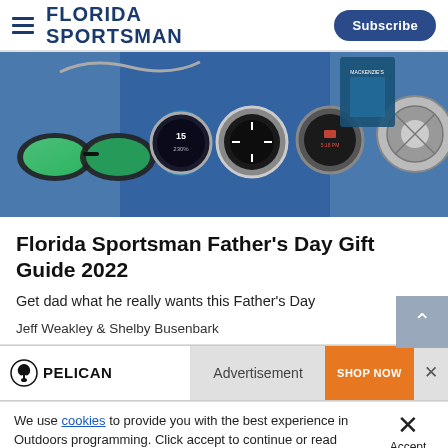FLORIDA SPORTSMAN | Subscribe
[Figure (photo): Hero image showing fishing and outdoor gear including sunglasses, smartwatches (Garmin), fishing reel, and outdoor product packaging against a blue background.]
Florida Sportsman Father's Day Gift Guide 2022
Get dad what he really wants this Father's Day
Jeff Weakley & Shelby Busenbark
[Figure (screenshot): Pelican advertisement banner with logo, 'Advertisement' label, and 'SHOP NOW' orange button with a close X.]
We use cookies to provide you with the best experience in Outdoors programming. Click accept to continue or read about our Privacy Policy.